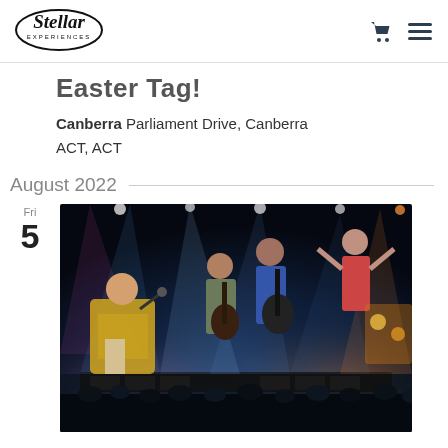Stellar Experiences
Easter Tag!
Canberra Parliament Drive, Canberra ACT, ACT
August 2022
Fri 5
[Figure (photo): Concert performance photo showing multiple band members on stage with dramatic lighting — a performer in yellow jacket with microphone, guitarist, and other band members with stage lights and crowd visible]